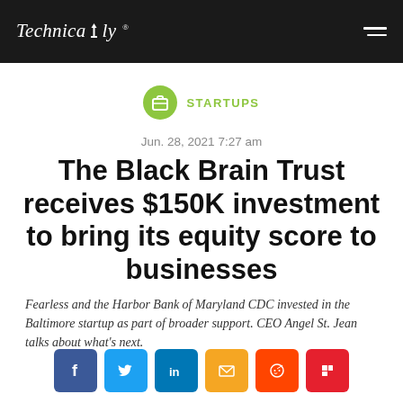Technically
STARTUPS
Jun. 28, 2021 7:27 am
The Black Brain Trust receives $150K investment to bring its equity score to businesses
Fearless and the Harbor Bank of Maryland CDC invested in the Baltimore startup as part of broader support. CEO Angel St. Jean talks about what’s next.
[Figure (other): Social sharing buttons: Facebook, Twitter, LinkedIn, Email, Reddit, Flipboard]